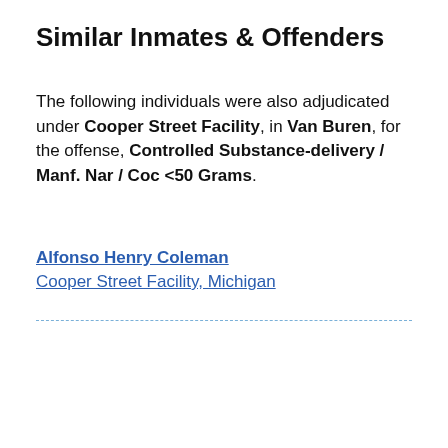Similar Inmates & Offenders
The following individuals were also adjudicated under Cooper Street Facility, in Van Buren, for the offense, Controlled Substance-delivery / Manf. Nar / Coc <50 Grams.
Alfonso Henry Coleman
Cooper Street Facility, Michigan